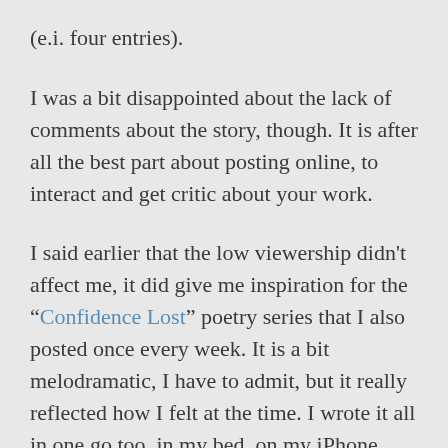(e.i. four entries).
I was a bit disappointed about the lack of comments about the story, though. It is after all the best part about posting online, to interact and get critic about your work.
I said earlier that the low viewership didn’t affect me, it did give me inspiration for the “Confidence Lost” poetry series that I also posted once every week. It is a bit melodramatic, I have to admit, but it really reflected how I felt at the time. I wrote it all in one go too, in my bed, on my iPhone…
In any case, I will be taking a break from my